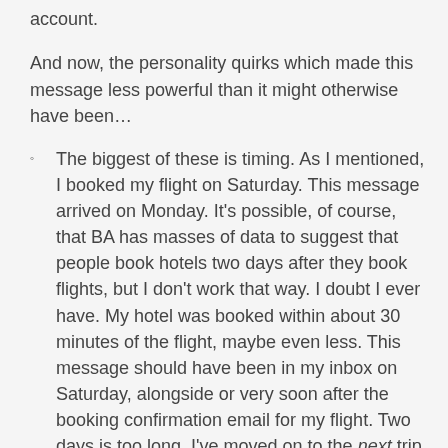account.
And now, the personality quirks which made this message less powerful than it might otherwise have been…
The biggest of these is timing. As I mentioned, I booked my flight on Saturday. This message arrived on Monday. It's possible, of course, that BA has masses of data to suggest that people book hotels two days after they book flights, but I don't work that way. I doubt I ever have. My hotel was booked within about 30 minutes of the flight, maybe even less. This message should have been in my inbox on Saturday, alongside or very soon after the booking confirmation email for my flight. Two days is too long. I've moved on to the next trip.
The call to action seems off. The message is